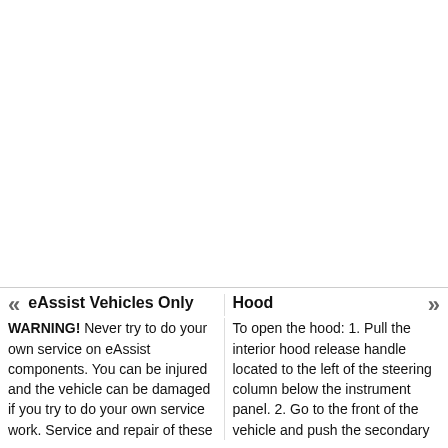eAssist Vehicles Only
WARNING! Never try to do your own service on eAssist components. You can be injured and the vehicle can be damaged if you try to do your own service work. Service and repair of these
Hood
To open the hood: 1. Pull the interior hood release handle located to the left of the steering column below the instrument panel. 2. Go to the front of the vehicle and push the secondary